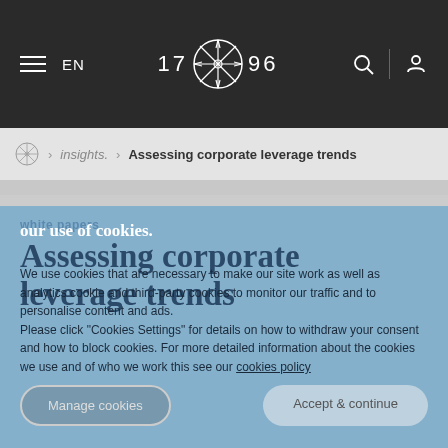EN | 1796 [logo] | search | account
insights. > Assessing corporate leverage trends
white papers
Assessing corporate leverage trends
our use of cookies.
We use cookies that are necessary to make our site work as well as analytics cookie and third-party cookies to monitor our traffic and to personalise content and ads.
Please click "Cookies Settings" for details on how to withdraw your consent and how to block cookies. For more detailed information about the cookies we use and of who we work this see our cookies policy
Manage cookies
Accept & continue